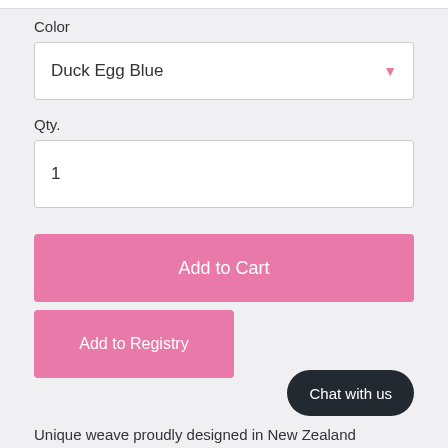Color
Duck Egg Blue
Qty.
1
Add to Cart
Add to Registry
Chat with us
Unique weave proudly designed in New Zealand